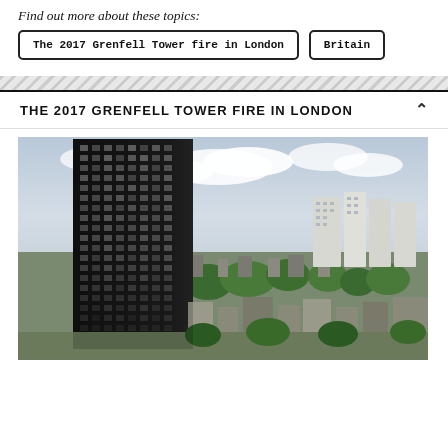Find out more about these topics:
The 2017 Grenfell Tower fire in London
Britain
THE 2017 GRENFELL TOWER FIRE IN LONDON
[Figure (photo): Aerial photograph of the Grenfell Tower fire aftermath in London, showing the severely burned and blackened high-rise tower block on the left side surrounded by residential and urban neighbourhood below a cloudy sky, with other residential tower blocks visible in the background on the right.]